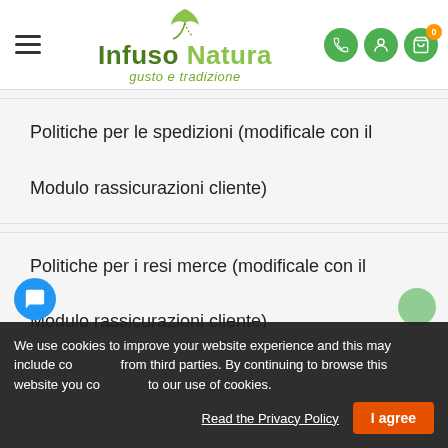[Figure (logo): Infuso Natura logo with leaf icon and tagline 'gusto e tradizione']
Politiche per le spedizioni (modificale con il Modulo rassicurazioni cliente)
Politiche per i resi merce (modificale con il Modulo rassicurazioni cliente)
We use cookies to improve your website experience and this may include cookies from third parties. By continuing to browse this website you consent to our use of cookies.